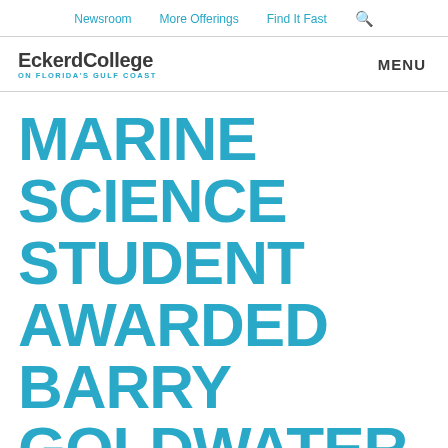Newsroom   More Offerings   Find It Fast   🔍
[Figure (logo): Eckerd College on Florida's Gulf Coast logo with MENU navigation button]
MARINE SCIENCE STUDENT AWARDED BARRY GOLDWATER RESEARCH